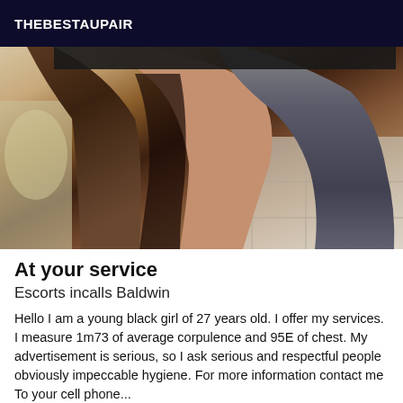THEBESTAUPAIR
[Figure (photo): Close-up photo of a person's legs wearing dark leggings/tights, seated, with a tiled floor visible in the background]
At your service
Escorts incalls Baldwin
Hello I am a young black girl of 27 years old. I offer my services. I measure 1m73 of average corpulence and 95E of chest. My advertisement is serious, so I ask serious and respectful people obviously impeccable hygiene. For more information contact me To your cell phone...